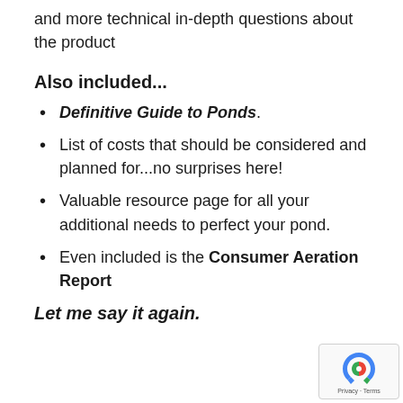and more technical in-depth questions about the product
Also included...
Definitive Guide to Ponds.
List of costs that should be considered and planned for...no surprises here!
Valuable resource page for all your additional needs to perfect your pond.
Even included is the Consumer Aeration Report
Let me say it again.